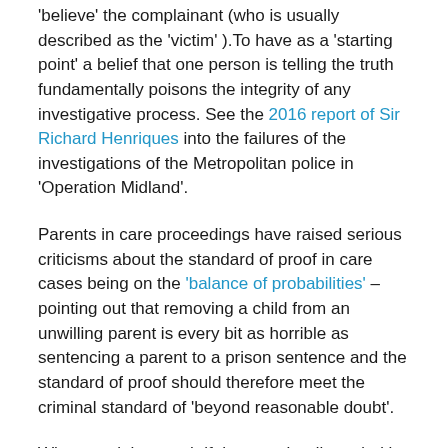'believe' the complainant (who is usually described as the 'victim' ).To have as a 'starting point' a belief that one person is telling the truth fundamentally poisons the integrity of any investigative process. See the 2016 report of Sir Richard Henriques into the failures of the investigations of the Metropolitan police in 'Operation Midland'.
Parents in care proceedings have raised serious criticisms about the standard of proof in care cases being on the 'balance of probabilities' – pointing out that removing a child from an unwilling parent is every bit as horrible as sentencing a parent to a prison sentence and the standard of proof should therefore meet the criminal standard of 'beyond reasonable doubt'.
What are rights worth if they can be discarded by the state